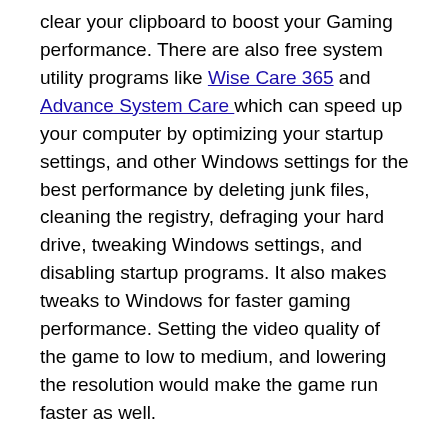clear your clipboard to boost your Gaming performance. There are also free system utility programs like Wise Care 365 and Advance System Care which can speed up your computer by optimizing your startup settings, and other Windows settings for the best performance by deleting junk files, cleaning the registry, defraging your hard drive, tweaking Windows settings, and disabling startup programs. It also makes tweaks to Windows for faster gaming performance. Setting the video quality of the game to low to medium, and lowering the resolution would make the game run faster as well.
Linux based operating systems like Ubuntu, Lubuntu, Steam OS, etc are becoming better operating systems for gaming now that Steam for Linux is available, and